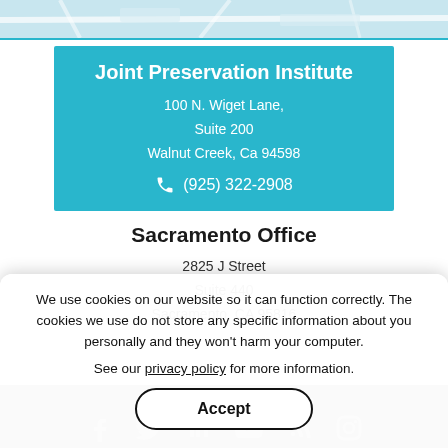[Figure (map): Partial map strip showing street map]
Joint Preservation Institute
100 N. Wiget Lane,
Suite 200
Walnut Creek, Ca 94598
(925) 322-2908
Sacramento Office
2825 J Street
Suite 440
Sacramento, CA 95816
We use cookies on our website so it can function correctly. The cookies we use do not store any specific information about you personally and they won't harm your computer.
See our privacy policy for more information.
Accept
Joint Preservation Institute